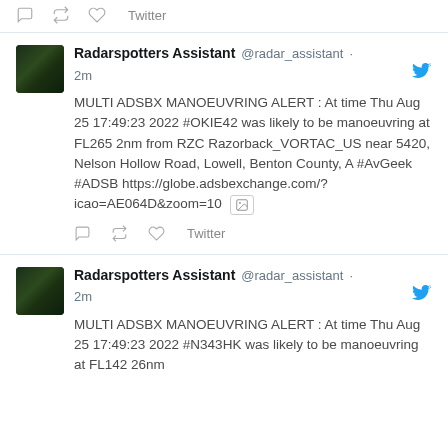[Figure (screenshot): Twitter/social media feed showing tweets from Radarspotters Assistant (@radar_assistant) about aircraft manoeuvring alerts]
MULTI ADSBX MANOEUVRING ALERT : At time Thu Aug 25 17:49:23 2022 #OKIE42 was likely to be manoeuvring at FL265 2nm from RZC Razorback_VORTAC_US near 5420, Nelson Hollow Road, Lowell, Benton County, A #AvGeek #ADSB https://globe.adsbexchange.com/?icao=AE064D&zoom=10
MULTI ADSBX MANOEUVRING ALERT : At time Thu Aug 25 17:49:23 2022 #N343HK was likely to be manoeuvring at FL142 26nm